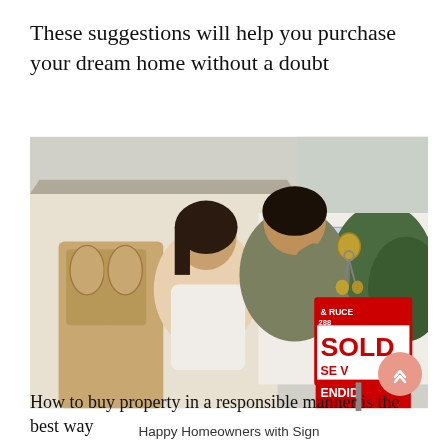These suggestions will help you purchase your dream home without a doubt
[Figure (photo): Happy couple standing in front of their new home, the man holding up house keys and a SOLD real estate sign visible in the background]
Happy Homeowners with Sign
How to buy property in a responsible manner is the best way